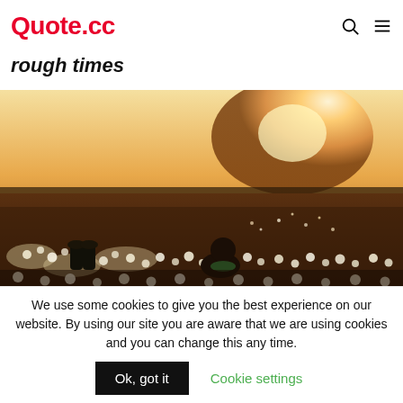Quote.cc
rough times
[Figure (photo): Child sitting in a field of white dandelions at sunset, silhouette shot with warm orange light in the background]
We use some cookies to give you the best experience on our website. By using our site you are aware that we are using cookies and you can change this any time.